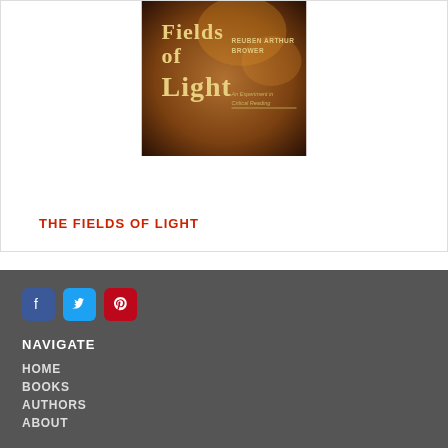[Figure (illustration): Book cover of 'Fields of Light' by Reuben Arthur Brower — dark amber/brown background with golden title text and subtitle 'An Experiment in Critical Reading']
THE FIELDS OF LIGHT
[Figure (other): Social media icons: Facebook, Twitter, Pinterest]
NAVIGATE
HOME
BOOKS
AUTHORS
ABOUT